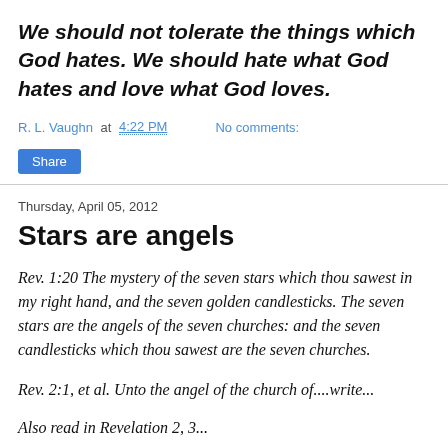We should not tolerate the things which God hates. We should hate what God hates and love what God loves.
R. L. Vaughn at 4:22 PM   No comments:
Share
Thursday, April 05, 2012
Stars are angels
Rev. 1:20 The mystery of the seven stars which thou sawest in my right hand, and the seven golden candlesticks. The seven stars are the angels of the seven churches: and the seven candlesticks which thou sawest are the seven churches.
Rev. 2:1, et al. Unto the angel of the church of....write...
Also read in Revelation 2, 3...